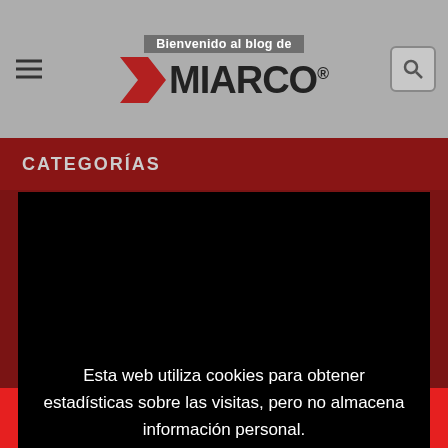Bienvenido al blog de MIARCO®
CATEGORÍAS
Esta web utiliza cookies para obtener estadísticas sobre las visitas, pero no almacena información personal.
Aceptar todo
Personalizar  Ver política de privacidad
Aviso Legal
LinkedIn Facebook Twitter Email WhatsApp